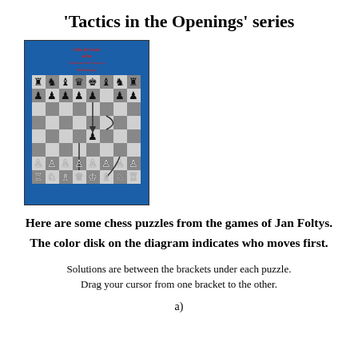'Tactics in the Openings' series
[Figure (illustration): Book cover with blue background showing a chess board position with pieces, red title text, and chess diagram arrows]
Here are some chess puzzles from the games of Jan Foltys.
The color disk on the diagram indicates who moves first.
Solutions are between the brackets under each puzzle.
Drag your cursor from one bracket to the other.
a)